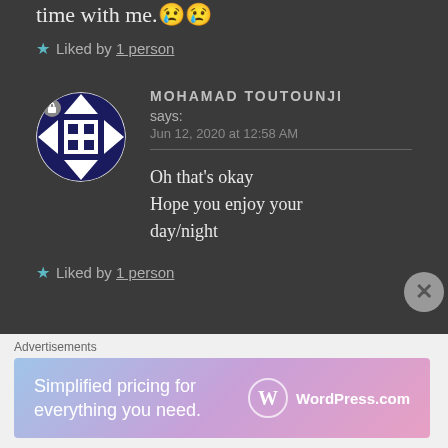time with me.😢😢
★ Liked by 1 person
MOHAMAD TOUTOUNJI says: Jun 12, 2020 at 12:58 AM
Oh that's okay
Hope you enjoy your day/night
★ Liked by 1 person
[Figure (other): WordPress.com advertisement banner: Simplified pricing for everything you need.]